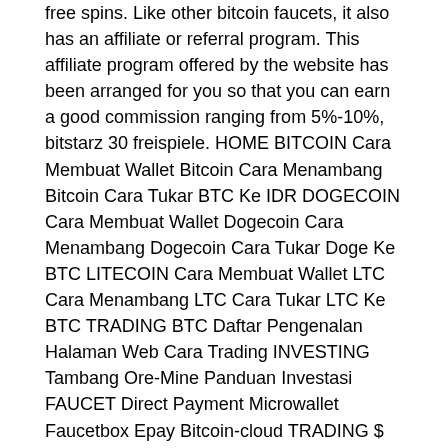free spins. Like other bitcoin faucets, it also has an affiliate or referral program. This affiliate program offered by the website has been arranged for you so that you can earn a good commission ranging from 5%-10%, bitstarz 30 freispiele. HOME BITCOIN Cara Membuat Wallet Bitcoin Cara Menambang Bitcoin Cara Tukar BTC Ke IDR DOGECOIN Cara Membuat Wallet Dogecoin Cara Menambang Dogecoin Cara Tukar Doge Ke BTC LITECOIN Cara Membuat Wallet LTC Cara Menambang LTC Cara Tukar LTC Ke BTC TRADING BTC Daftar Pengenalan Halaman Web Cara Trading INVESTING Tambang Ore-Mine Panduan Investasi FAUCET Direct Payment Microwallet Faucetbox Epay Bitcoin-cloud TRADING $ Daftar Bonus Modal 10$ Cara Trading. Cara Withdrawal faucet sistem roll, bitstarz 30 no deposit. For bitcoin enthusiasts who want to earn a passive income starting your own faucet rotator may help, bitstarz 30 free spin.